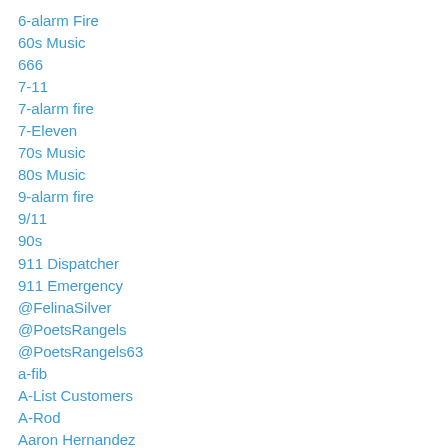6-alarm Fire
60s Music
666
7-11
7-alarm fire
7-Eleven
70s Music
80s Music
9-alarm fire
9/11
90s
911 Dispatcher
911 Emergency
@FelinaSilver
@PoetsRangels
@PoetsRangels63
a-fib
A-List Customers
A-Rod
Aaron Hernandez